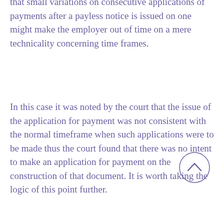that small variations on consecutive applications of payments after a payless notice is issued on one might make the employer out of time on a mere technicality concerning time frames.
In this case it was noted by the court that the issue of the application for payment was not consistent with the normal timeframe when such applications were to be made thus the court found that there was no intent to make an application for payment on the construction of that document. It is worth taking the logic of this point further.